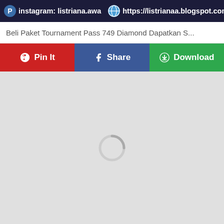instagram: listriana.awa   https://listrianaa.blogspot.com
Beli Paket Tournament Pass 749 Diamond Dapatkan S...
[Figure (screenshot): Three buttons: Pin It (red, Pinterest), Share (blue, Facebook), Download (green)]
[Figure (screenshot): Large light gray loading area with a circular spinner icon in the center]